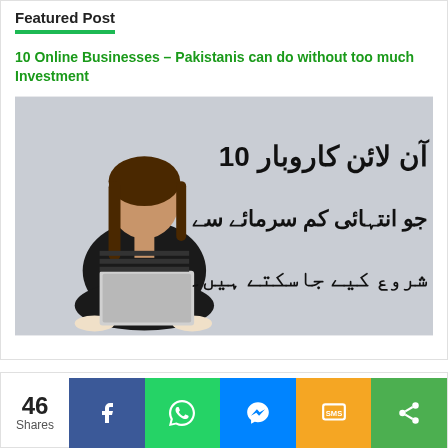Featured Post
10 Online Businesses - Pakistanis can do without too much Investment
[Figure (photo): A woman sitting cross-legged with a laptop, next to Urdu text saying '10 online businesses that can be started with very little capital']
46 Shares
[Figure (infographic): Social sharing bar with Facebook, WhatsApp, Messenger, SMS, and share icons]